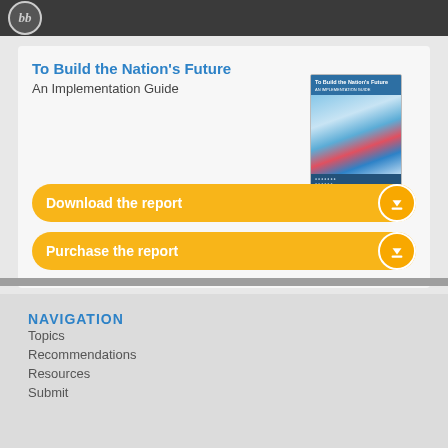[Figure (logo): Circular logo with stylized 'bb' initials on dark background header bar]
To Build the Nation's Future
An Implementation Guide
[Figure (illustration): Book cover thumbnail for 'To Build the Nation's Future: An Implementation Guide' with blue and red graphic design]
Download the report
Purchase the report
NAVIGATION
Topics
Recommendations
Resources
Submit